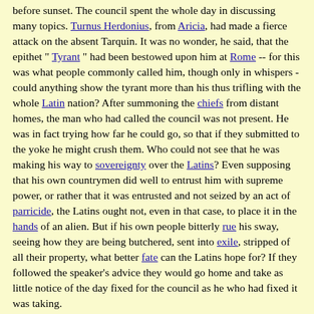before sunset. The council spent the whole day in discussing many topics. Turnus Herdonius, from Aricia, had made a fierce attack on the absent Tarquin. It was no wonder, he said, that the epithet " Tyrant " had been bestowed upon him at Rome -- for this was what people commonly called him, though only in whispers - could anything show the tyrant more than his thus trifling with the whole Latin nation? After summoning the chiefs from distant homes, the man who had called the council was not present. He was in fact trying how far he could go, so that if they submitted to the yoke he might crush them. Who could not see that he was making his way to sovereignty over the Latins? Even supposing that his own countrymen did well to entrust him with supreme power, or rather that it was entrusted and not seized by an act of parricide, the Latins ought not, even in that case, to place it in the hands of an alien. But if his own people bitterly rue his sway, seeing how they are being butchered, sent into exile, stripped of all their property, what better fate can the Latins hope for? If they followed the speaker's advice they would go home and take as little notice of the day fixed for the council as he who had fixed it was taking.